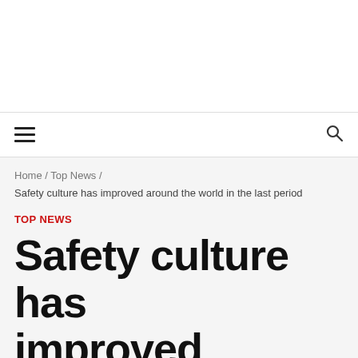Home / Top News / Safety culture has improved around the world in the last period
TOP NEWS
Safety culture has improved around